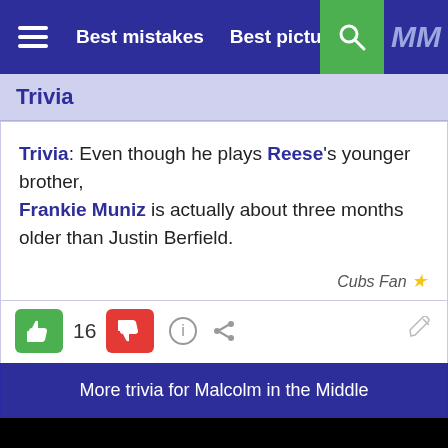Best mistakes   Best pictures
Trivia
Trivia: Even though he plays Reese's younger brother, Frankie Muniz is actually about three months older than Justin Berfield.
Cubs Fan ★
16
More trivia for Malcolm in the Middle
[Figure (screenshot): Black video player area with a white play button triangle in the center]